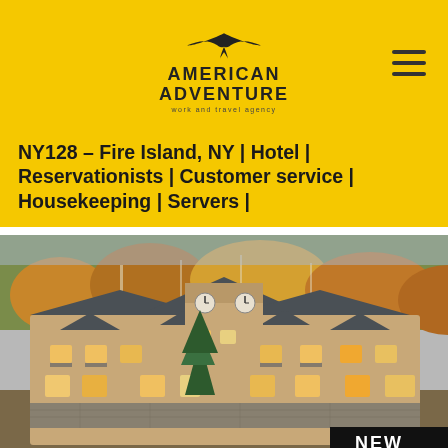AMERICAN ADVENTURE work and travel agency
NY128 – Fire Island, NY | Hotel | Reservationists | Customer service | Housekeeping | Servers |
[Figure (photo): Hotel or resort building with clock tower, lit windows, surrounded by autumn foliage on hillside. A 'NEW' badge appears at bottom right.]